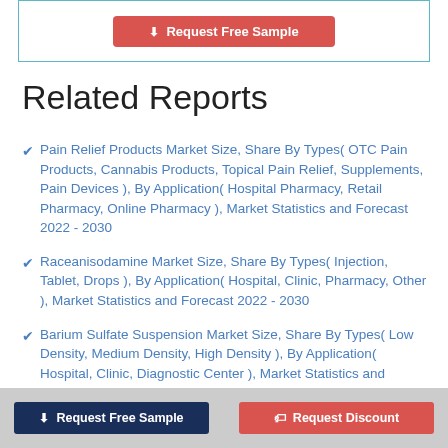[Figure (other): Request Free Sample button inside a teal-bordered box at the top of the page]
Related Reports
Pain Relief Products Market Size, Share By Types( OTC Pain Products, Cannabis Products, Topical Pain Relief, Supplements, Pain Devices ), By Application( Hospital Pharmacy, Retail Pharmacy, Online Pharmacy ), Market Statistics and Forecast 2022 - 2030
Raceanisodamine Market Size, Share By Types( Injection, Tablet, Drops ), By Application( Hospital, Clinic, Pharmacy, Other ), Market Statistics and Forecast 2022 - 2030
Barium Sulfate Suspension Market Size, Share By Types( Low Density, Medium Density, High Density ), By Application( Hospital, Clinic, Diagnostic Center ), Market Statistics and Forecast 2022 - 2030
[Figure (other): Footer bar with two buttons: Request Free Sample (dark navy) and Request Discount (red)]